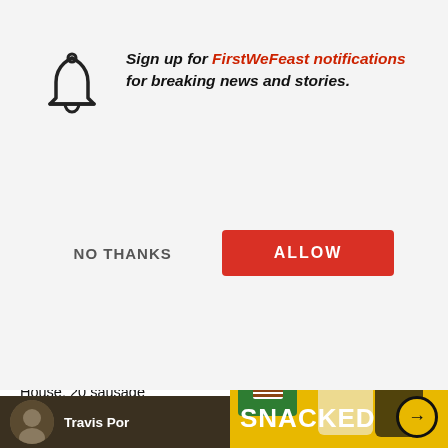Sign up for FirstWeFeast notifications for breaking news and stories.
NO THANKS
ALLOW
Top Articles
The lyric: "All the w... jumpin' off the fur... House, 20 sausage... what come on a sa... behind the song:
[Figure (screenshot): Advertisement overlay showing SNACKED branding with two men on yellow background, Pepero product box visible]
Travis Por...